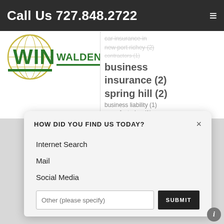Call Us 727.848.2722
[Figure (logo): Walden Insurance Network, Inc. logo with globe graphic and WIN text in green]
car insurance in new port richey (2)
business insurance (2)
spring hill (2)
business liability (1)
manufacturing (1)
ransomware (1)  business (1)
HOW DID YOU FIND US TODAY?
Internet Search
Mail
Social Media